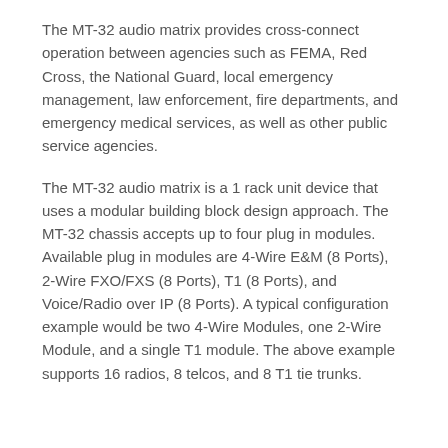The MT-32 audio matrix provides cross-connect operation between agencies such as FEMA, Red Cross, the National Guard, local emergency management, law enforcement, fire departments, and emergency medical services, as well as other public service agencies.
The MT-32 audio matrix is a 1 rack unit device that uses a modular building block design approach. The MT-32 chassis accepts up to four plug in modules. Available plug in modules are 4-Wire E&M (8 Ports), 2-Wire FXO/FXS (8 Ports), T1 (8 Ports), and Voice/Radio over IP (8 Ports). A typical configuration example would be two 4-Wire Modules, one 2-Wire Module, and a single T1 module. The above example supports 16 radios, 8 telcos, and 8 T1 tie trunks.